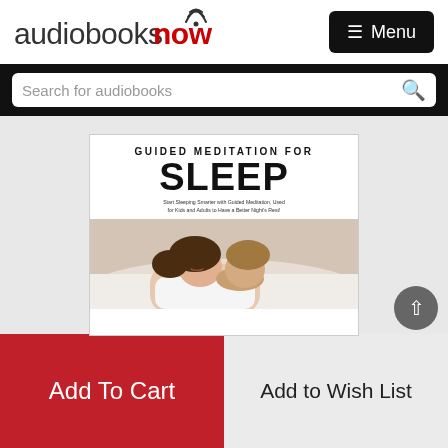[Figure (logo): Audiobooksnow logo with wifi signal icon above the 'o' in 'now', with 'audiobooks' in dark/gray and 'now' in red bold]
Menu
Search for audiobooks
[Figure (photo): Book cover for 'Guided Meditation for Sleep' showing large bold text 'GUIDED MEDITATION FOR' and 'SLEEP', subtitle 'Start Sleeping Smarter with Guided Meditation, Used for Kids and Adults to Have a Better Night's Rest!' with a photo of two people sleeping]
Add To Cart
Add to Wish List